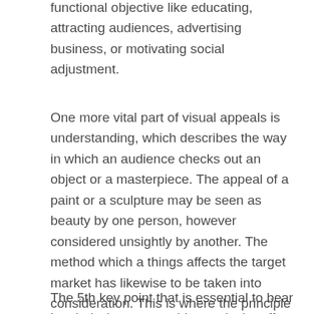functional objective like educating, attracting audiences, advertising business, or motivating social adjustment.
One more vital part of visual appeals is understanding, which describes the way in which an audience checks out an object or a masterpiece. The appeal of a paint or a sculpture may be seen as beauty by one person, however considered unsightly by another. The method which a things affects the target market has likewise to be taken into consideration. This is where the principle of visual judgment gets in the picture. The assessment of the elegance of a work of art includes the capacity to value the various high qualities that make an artwork lovely.
The 5th key point that is essential to bear in mind when researching art is the effect that a masterpiece...